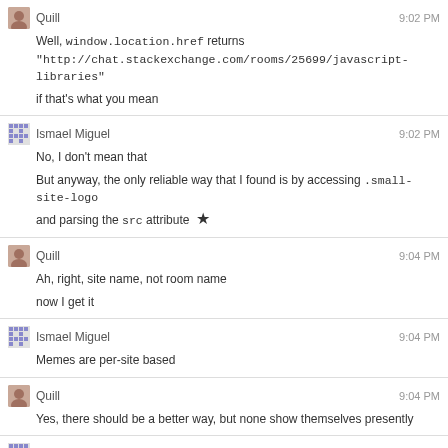Quill 9:02 PM
Well, window.location.href returns "http://chat.stackexchange.com/rooms/25699/javascript-libraries"
if that's what you mean
Ismael Miguel 9:02 PM
No, I don't mean that
But anyway, the only reliable way that I found is by accessing .small-site-logo and parsing the src attribute ★
Quill 9:04 PM
Ah, right, site name, not room name
now I get it
Ismael Miguel 9:04 PM
Memes are per-site based
Quill 9:04 PM
Yes, there should be a better way, but none show themselves presently
Ismael Miguel 9:07 PM
I'm still looking
There is really no way to get the site from there
@Quill document.getElementById('footer-logo').getElementsByTagName('img')[0].src.match(/sstatic.net\/([^\/]+)\/)[1];